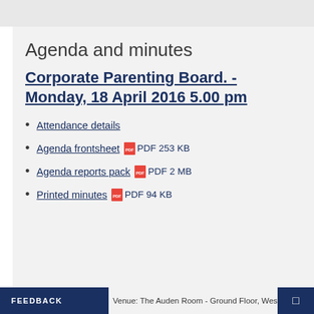Agenda and minutes
Corporate Parenting Board. - Monday, 18 April 2016 5.00 pm
Attendance details
Agenda frontsheet  PDF 253 KB
Agenda reports pack  PDF 2 MB
Printed minutes  PDF 94 KB
FEEDBACK   Venue: The Auden Room - Ground Floor, West Offices (G047)